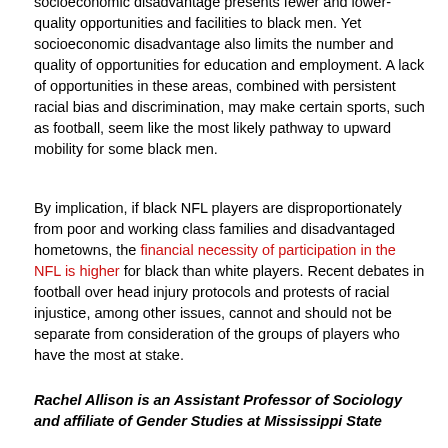socioeconomic disadvantage presents fewer and lower-quality opportunities and facilities to black men. Yet socioeconomic disadvantage also limits the number and quality of opportunities for education and employment. A lack of opportunities in these areas, combined with persistent racial bias and discrimination, may make certain sports, such as football, seem like the most likely pathway to upward mobility for some black men.
By implication, if black NFL players are disproportionately from poor and working class families and disadvantaged hometowns, the financial necessity of participation in the NFL is higher for black than white players. Recent debates in football over head injury protocols and protests of racial injustice, among other issues, cannot and should not be separate from consideration of the groups of players who have the most at stake.
Rachel Allison is an Assistant Professor of Sociology and affiliate of Gender Studies at Mississippi State